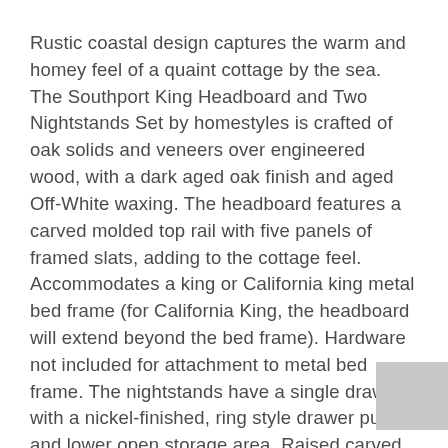Rustic coastal design captures the warm and homey feel of a quaint cottage by the sea. The Southport King Headboard and Two Nightstands Set by homestyles is crafted of oak solids and veneers over engineered wood, with a dark aged oak finish and aged Off-White waxing. The headboard features a carved molded top rail with five panels of framed slats, adding to the cottage feel. Accommodates a king or California king metal bed frame (for California King, the headboard will extend beyond the bed frame). Hardware not included for attachment to metal bed frame. The nightstands have a single drawer with a nickel-finished, ring style drawer pull and lower open storage area. Raised carved feet, a shaped ogee edge top and base molding add to the charm. Arrives at your door by parcel delivery service. Finish and measurements may vary. Assembly required.